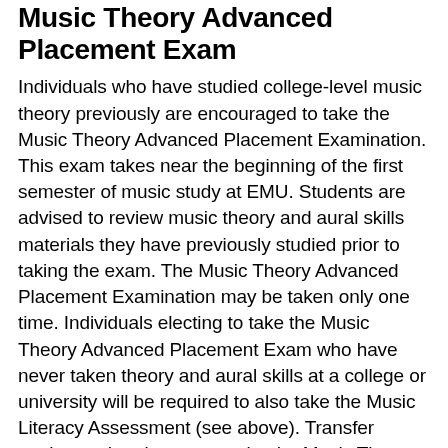Music Theory Advanced Placement Exam
Individuals who have studied college-level music theory previously are encouraged to take the Music Theory Advanced Placement Examination. This exam takes near the beginning of the first semester of music study at EMU. Students are advised to review music theory and aural skills materials they have previously studied prior to taking the exam. The Music Theory Advanced Placement Examination may be taken only one time. Individuals electing to take the Music Theory Advanced Placement Exam who have never taken theory and aural skills at a college or university will be required to also take the Music Literacy Assessment (see above). Transfer students who elect not to take the Music Theory Advanced Placement Examination are required to take the Music Literacy Assessment (see above).
Advanced Placement Examination Outline